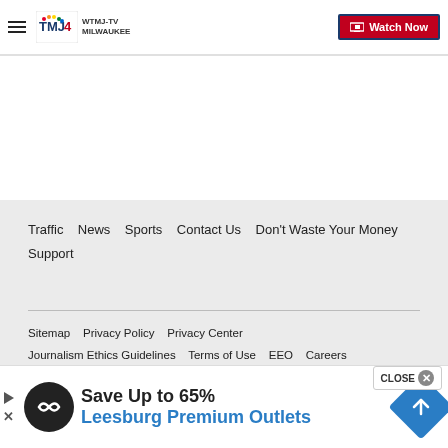WTMJ-TV MILWAUKEE — Watch Now
Traffic  News  Sports  Contact Us  Don't Waste Your Money  Support
Sitemap  Privacy Policy  Privacy Center  Journalism Ethics Guidelines  Terms of Use  EEO  Careers  FCC Public File  FCC Application  Public File Contact
[Figure (screenshot): Advertisement banner: Save Up to 65% — Leesburg Premium Outlets with navigation arrows and close button]